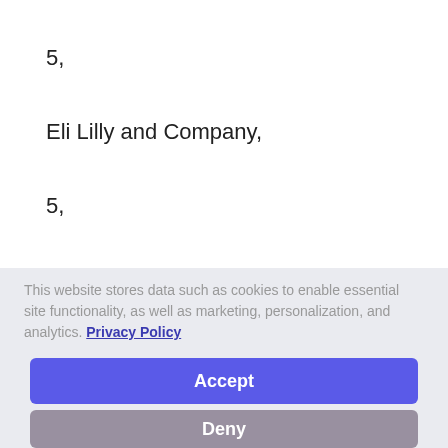5,
Eli Lilly and Company,
5,
Rheumatology Reseach Foundation,
6,
This website stores data such as cookies to enable essential site functionality, as well as marketing, personalization, and analytics. Privacy Policy
Accept
Deny